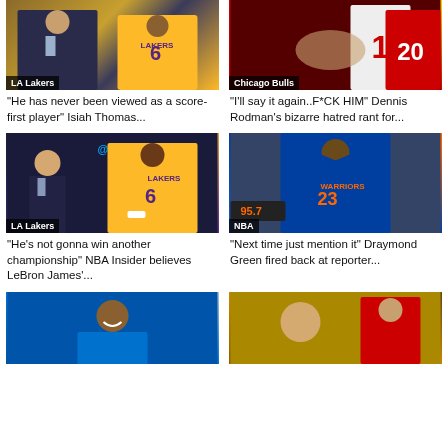[Figure (photo): LA Lakers - two men, one in suit, one in Lakers #6 jersey]
“He has never been viewed as a score-first player” Isiah Thomas...
[Figure (photo): Chicago Bulls - basketball players in game action]
“I’ll say it again..F*CK HIM” Dennis Rodman’s bizarre hatred rant for...
[Figure (photo): LA Lakers - TV analyst and LeBron James in Lakers #6 jersey]
“He’s not gonna win another championship” NBA Insider believes LeBron James’...
[Figure (photo): NBA - Draymond Green #23 in Warriors jersey with arms raised]
“Next time just mention it” Draymond Green fired back at reporter...
[Figure (photo): Kevin Durant smiling in basketball uniform]
[Figure (photo): Skip Bayless and basketball player]